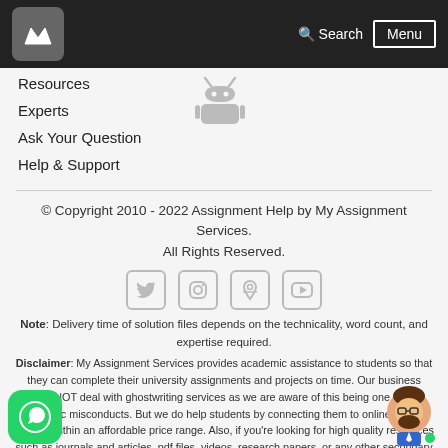[Figure (logo): Black header bar with M logo on left, Search and Menu on right]
[Figure (illustration): Android robot icon in gray]
Resources
Experts
Ask Your Question
Help & Support
© Copyright 2010 - 2022 Assignment Help by My Assignment Services. All Rights Reserved.
[Figure (illustration): Social media icons: Twitter, Instagram, Google Maps, YouTube]
Note: Delivery time of solution files depends on the technicality, word count, and expertise required.
Disclaimer: My Assignment Services provides academic assistance to students so that they can complete their university assignments and projects on time. Our business does NOT deal with ghostwriting services as we are aware of this being one of the academic misconducts. But we do help students by connecting them to online subject experts within an affordable price range. Also, if you're looking for high quality resources such as journals and articles, pdf files, videos, research papers, or any other secondary literature to write your assignment task, then we can definitely help you out.